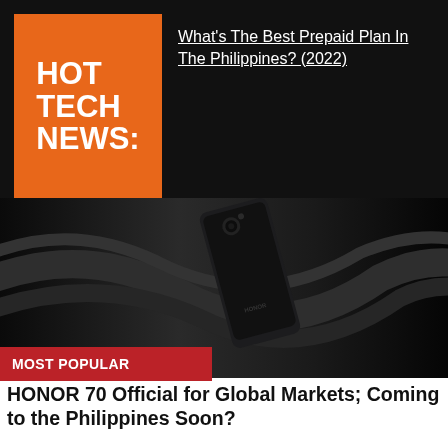HOT TECH NEWS:
What’s The Best Prepaid Plan In The Philippines? (2022)
[Figure (photo): Black smartphone (Honor 70) against dark glossy wavy background]
MOST POPULAR
HONOR 70 Official for Global Markets; Coming to the Philippines Soon?
Unbox.ph
[Figure (infographic): Advertisement banner: Earn money by sharing your opinions. Miso Rewards. SIGN UP button.]
[Figure (photo): Partial photo of a person's face looking upward]